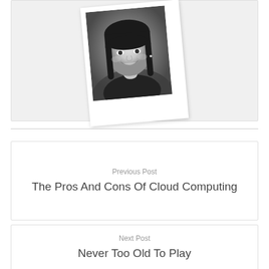[Figure (photo): Black and white polaroid-style photo of a smiling woman with dark hair and bangs, slightly tilted.]
Previous Post
The Pros And Cons Of Cloud Computing
Next Post
Never Too Old To Play